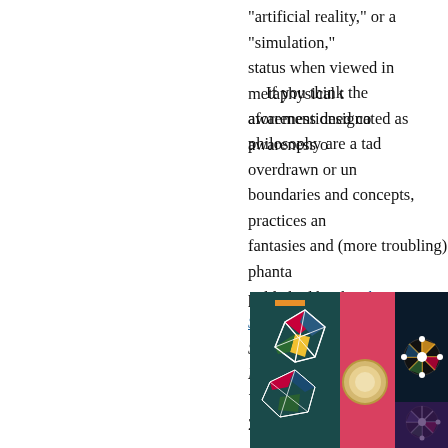“artificial reality,” or a “simulation,” status when viewed in metaphysical t awareness designated as awareness o
If you think the aforementioned co philosophy are a tad overdrawn or un boundaries and concepts, practices an fantasies and (more troubling) phanta published book: The Simulation Hypo Shows Why AI, Quantum Physics and Video Game (Bayview Books, 2019).
[Figure (illustration): Colorful abstract painting with geometric shapes, triangles with intersecting lines, a large pink vertical band, circular forms, and star-burst patterns on dark teal/black backgrounds. Appears to be in the style of Wassily Kandinsky.]